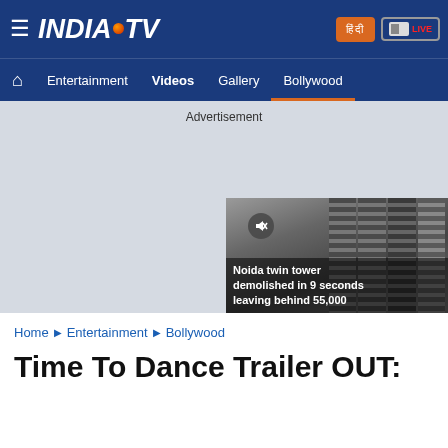[Figure (screenshot): India TV website header with logo, hamburger menu, Hindi button, and LIVE badge on dark blue background]
Home  Entertainment  Videos  Gallery  Bollywood
Advertisement
[Figure (screenshot): Video thumbnail showing Noida twin tower demolition with caption: Noida twin tower demolished in 9 seconds leaving behind 55,000]
Home ▶ Entertainment ▶ Bollywood
Time To Dance Trailer OUT: